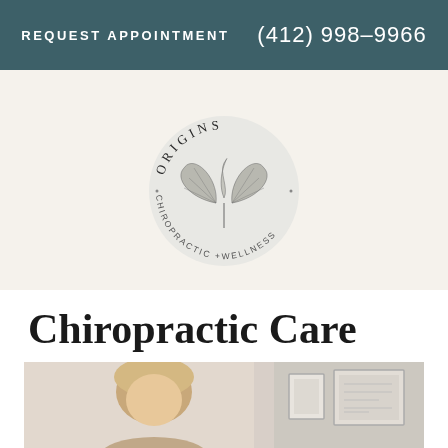REQUEST APPOINTMENT   (412) 998-9966
[Figure (logo): Origins Chiropractic + Wellness circular logo with ginkgo leaf illustration and arched text reading ORIGINS at top and CHIROPRACTIC + WELLNESS along the bottom arc]
Chiropractic Care
[Figure (photo): Photo of a woman with blonde hair, partially visible, in a clinical/office setting with framed items on the wall in the background]